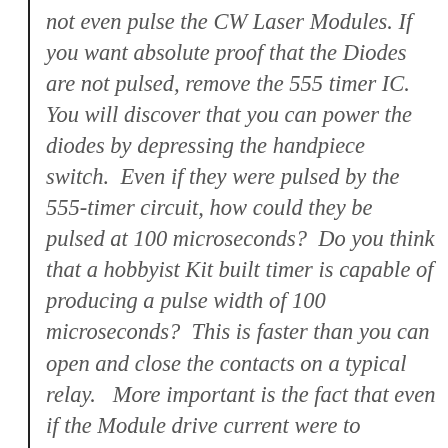not even pulse the CW Laser Modules. If you want absolute proof that the Diodes are not pulsed, remove the 555 timer IC.  You will discover that you can power the diodes by depressing the handpiece switch.  Even if they were pulsed by the 555-timer circuit, how could they be pulsed at 100 microseconds?  Do you think that a hobbyist Kit built timer is capable of producing a pulse width of 100 microseconds?  This is faster than you can open and close the contacts on a typical relay.   More important is the fact that even if the Module drive current were to controlled by 555-